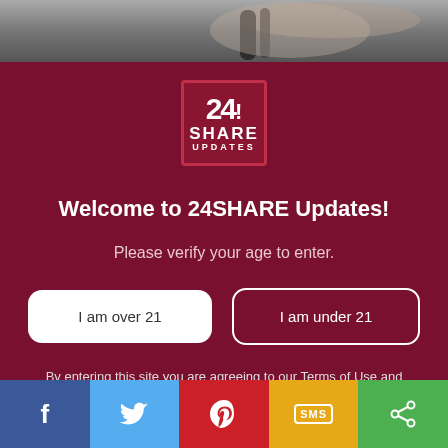[Figure (photo): Cropped photo of a hand holding a vape/e-cigarette pen, partially visible at top of page]
[Figure (logo): 24SHARE UPDATES logo — white text on dark red square with border]
Welcome to 24SHARE Updates!
Please verify your age to enter.
I am over 21
I am under 21
By entering this site you are agreeing to our Terms of Use and Privacy Policy
[Figure (infographic): Social share bar at bottom with Facebook, Twitter, Pinterest, SMS, and Share icons in colored blocks]